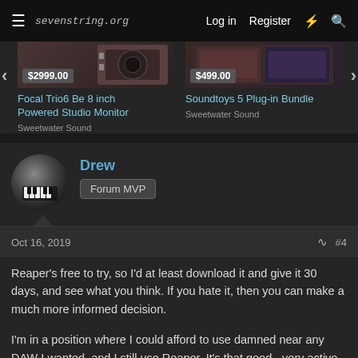sevenstring.org  Log in  Register
[Figure (screenshot): Product card showing Focal Trio6 Be 8 inch Powered Studio Monitor priced at $2999.00 from Sweetwater Sound]
[Figure (screenshot): Product card showing Soundtoys 5 Plug-in Bundle priced at $499.00 from Sweetwater Sound]
Drew
Forum MVP
Oct 16, 2019
#4
Reaper's free to try, so I'd at least download it and give it 30 days, and see what you think. If you hate it, then you can make a much more informed decision.
I'm in a position where I could afford to use damned near any DAW I wanted, and I still use Reaper. It's that good - very active software development and helpful community, so flexible